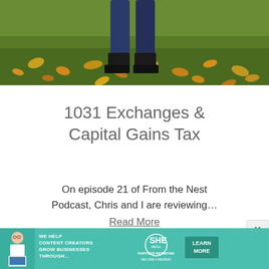[Figure (photo): Photo showing legs in dark jeans and black boots standing on a green lawn covered with yellow autumn leaves]
1031 Exchanges & Capital Gains Tax
On episode 21 of From the Nest Podcast, Chris and I are reviewing…
Read More
[Figure (infographic): SHE Media Partner Network advertisement banner with teal background. Text reads: WE HELP CONTENT CREATORS GROW BUSINESSES THROUGH... SHE PARTNER NETWORK BECOME A MEMBER. Button: LEARN MORE]